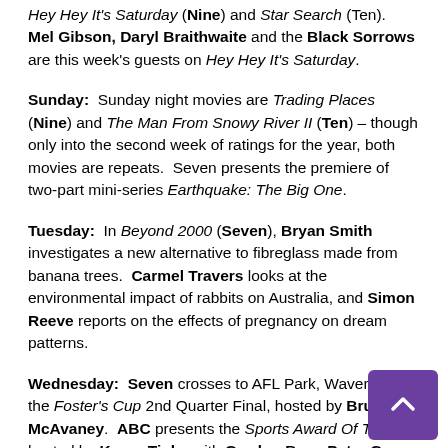Hey Hey It's Saturday (Nine) and Star Search (Ten). Mel Gibson, Daryl Braithwaite and the Black Sorrows are this week's guests on Hey Hey It's Saturday.
Sunday: Sunday night movies are Trading Places (Nine) and The Man From Snowy River II (Ten) – though only into the second week of ratings for the year, both movies are repeats. Seven presents the premiere of two-part mini-series Earthquake: The Big One.
Tuesday: In Beyond 2000 (Seven), Bryan Smith investigates a new alternative to fibreglass made from banana trees. Carmel Travers looks at the environmental impact of rabbits on Australia, and Simon Reeve reports on the effects of pregnancy on dream patterns.
Wednesday: Seven crosses to AFL Park, Waverley, for the Foster's Cup 2nd Quarter Final, hosted by Bruce McAvaney. ABC presents the Sports Award Of The Y hosted by Karen Tighe with Gordon Bray, Peter Gee and